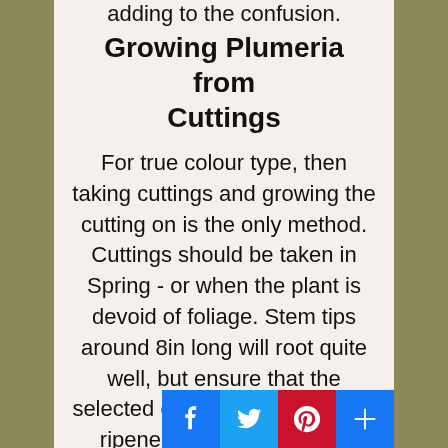adding to the confusion.
Growing Plumeria from Cuttings
For true colour type, then taking cuttings and growing the cutting on is the only method. Cuttings should be taken in Spring - or when the plant is devoid of foliage. Stem tips around 8in long will root quite well, but ensure that the selected cutting material is well ripened and not s growth. Allow the c
[Figure (other): Social media sharing buttons: Facebook, Twitter, Pinterest, and a plus/share button]